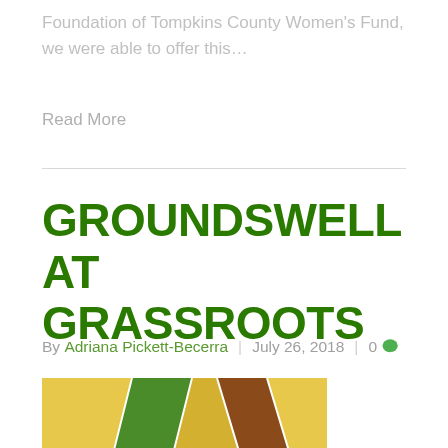Foundation of Tompkins County Women's Fund, we were able to offer this…
Read More
GROUNDSWELL AT GRASSROOTS
By Adriana Pickett-Becerra | July 26, 2018 | 0
[Figure (photo): A person wearing a tan hat photographed in front of a colorful striped background with yellow, green, and brown/red sections]